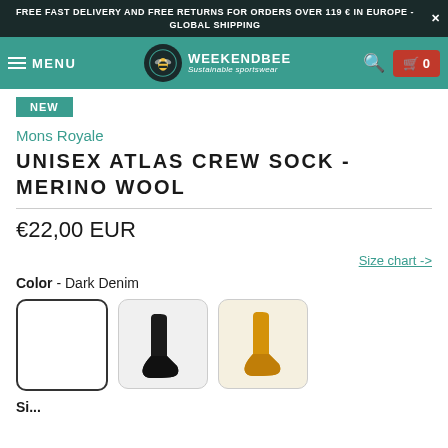FREE FAST DELIVERY AND FREE RETURNS FOR ORDERS OVER 119 € IN EUROPE - GLOBAL SHIPPING
[Figure (screenshot): Weekendbee sustainable sportswear navigation bar with hamburger menu, logo, search icon, and cart button showing 0 items]
NEW
Mons Royale
UNISEX ATLAS CREW SOCK - MERINO WOOL
€22,00 EUR
Size chart ->
Color - Dark Denim
[Figure (photo): Three color swatch options for the sock: first box empty/white (selected, with border), second showing a black sock, third showing a yellow/mustard sock]
Si...